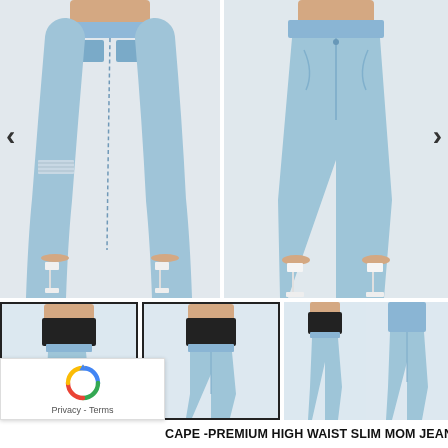[Figure (photo): Back view of woman wearing light blue distressed ripped high waist slim mom jeans with white strappy heels, gray background]
[Figure (photo): Front view of woman wearing light blue high waist slim mom jeans with white strappy heels, gray background]
[Figure (photo): Thumbnail: Side/back view of woman wearing black crop top and light blue high waist slim mom jeans]
[Figure (photo): Thumbnail: Front/side view of woman wearing black crop top and light blue high waist slim mom jeans]
[Figure (photo): Thumbnail: Front view of woman wearing black crop top and light blue high waist slim mom jeans]
[Figure (photo): Thumbnail: Close-up of light blue high waist slim mom jeans, no top visible]
CAPE -PREMIUM HIGH WAIST SLIM MOM JEANS